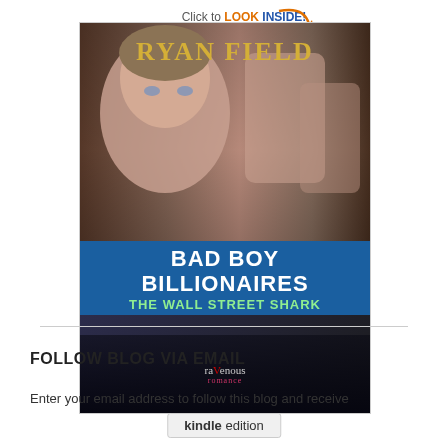[Figure (illustration): Book cover for 'Bad Boy Billionaires: The Wall Street Shark' by Ryan Field, shown as a Kindle edition with 'Click to LOOK INSIDE!' badge. The cover shows men's torsos with author name in gold, title in white on blue band, subtitle in green, and Ravenous Romance publisher logo.]
FOLLOW BLOG VIA EMAIL
Enter your email address to follow this blog and receive